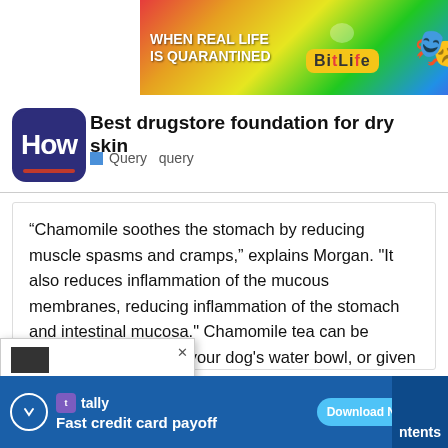[Figure (screenshot): BitLife advertisement banner with rainbow gradient background, showing 'WHEN REAL LIFE IS QUARANTINED' text and BitLife logo with emoji characters]
Best drugstore foundation for dry skin
Query  query
“Chamomile soothes the stomach by reducing muscle spasms and cramps,” explains Morgan. “It also reduces inflammation of the mucous membranes, reducing inflammation of the stomach and intestinal mucosa.” Chamomile tea can be added to dog food, in your dog's water bowl, or given ■■■■■■ with a syringe, she says.
[Figure (screenshot): Partial popup overlay with close X button and truncated content, showing sponsored label]
[Figure (screenshot): Tally app advertisement banner with blue background, showing 'Fast credit card payoff' and Download Now button]